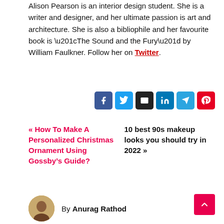Alison Pearson is an interior design student. She is a writer and designer, and her ultimate passion is art and architecture. She is also a bibliophile and her favourite book is “The Sound and the Fury” by William Faulkner. Follow her on Twitter.
[Figure (other): Row of six social share buttons: Facebook (dark blue), Twitter (light blue), Email (black), LinkedIn (blue), Telegram (cyan), Pinterest (red)]
« How To Make A Personalized Christmas Ornament Using Gossby’s Guide?
10 best 90s makeup looks you should try in 2022 »
[Figure (other): Scroll to top button (red square with up arrow chevron)]
By Anurag Rathod